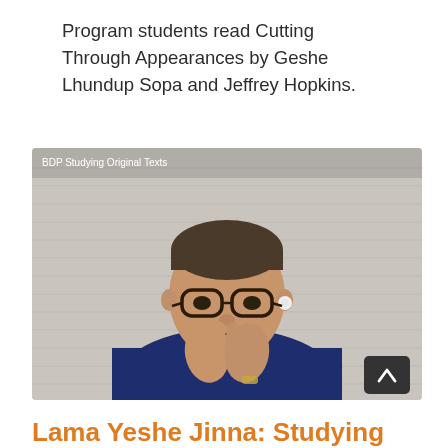Program students read Cutting Through Appearances by Geshe Lhundup Sopa and Jeffrey Hopkins.
[Figure (photo): A man with glasses and short hair in a navy blue sweater with teal collar, hands pressed together in a prayer/namaste gesture, sitting in front of horizontal blinds. A video overlay label reads 'BDP Studying Original Texts'. A dark scroll-up button appears in the bottom-right corner of the video.]
Lama Yeshe Jinna: Studying